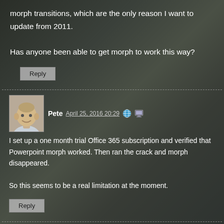morph transitions, which are the only reason I want to update from 2011.
Has anyone been able to get morph to work this way?
Reply
Pete  April 25, 2016 20:29
I set up a one month trial Office 365 subscription and verified that Powerpoint morph worked. Then ran the crack and morph disappeared.

So this seems to be a real limitation at the moment.
Reply
Eric  April 23, 2016 22:38